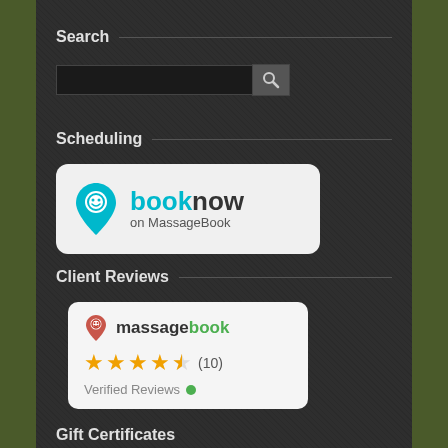Search
[Figure (screenshot): Search input box with magnifying glass button]
Scheduling
[Figure (logo): Book Now on MassageBook button - teal logo with location pin icon and text 'booknow on MassageBook']
Client Reviews
[Figure (infographic): MassageBook review widget showing 4.5 stars out of 5, (10) reviews, Verified Reviews with green dot]
Gift Certificates